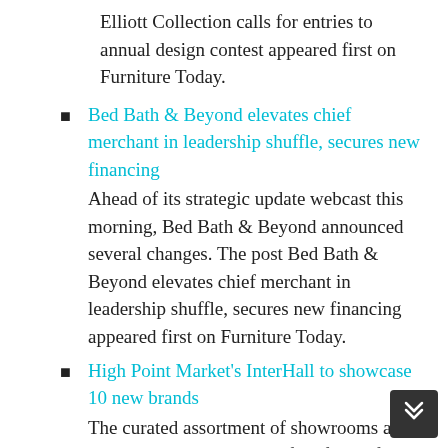Elliott Collection calls for entries to annual design contest appeared first on Furniture Today.
Bed Bath & Beyond elevates chief merchant in leadership shuffle, secures new financing
Ahead of its strategic update webcast this morning, Bed Bath & Beyond announced several changes. The post Bed Bath & Beyond elevates chief merchant in leadership shuffle, secures new financing appeared first on Furniture Today.
High Point Market's InterHall to showcase 10 new brands
The curated assortment of showrooms and temporary exhibits on the first floor of the International